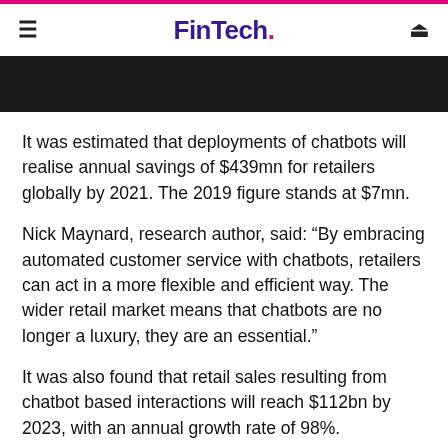FinTech.
It was estimated that deployments of chatbots will realise annual savings of $439mn for retailers globally by 2021. The 2019 figure stands at $7mn.
Nick Maynard, research author, said: “By embracing automated customer service with chatbots, retailers can act in a more flexible and efficient way. The wider retail market means that chatbots are no longer a luxury, they are an essential.”
It was also found that retail sales resulting from chatbot based interactions will reach $112bn by 2023, with an annual growth rate of 98%.